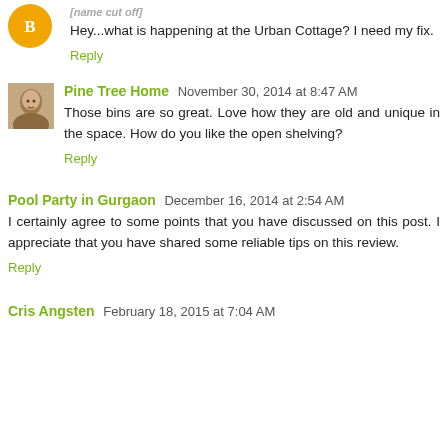Hey...what is happening at the Urban Cottage? I need my fix.
Reply
Pine Tree Home November 30, 2014 at 8:47 AM
Those bins are so great. Love how they are old and unique in the space. How do you like the open shelving?
Reply
Pool Party in Gurgaon December 16, 2014 at 2:54 AM
I certainly agree to some points that you have discussed on this post. I appreciate that you have shared some reliable tips on this review.
Reply
Cris Angsten February 18, 2015 at 7:04 AM